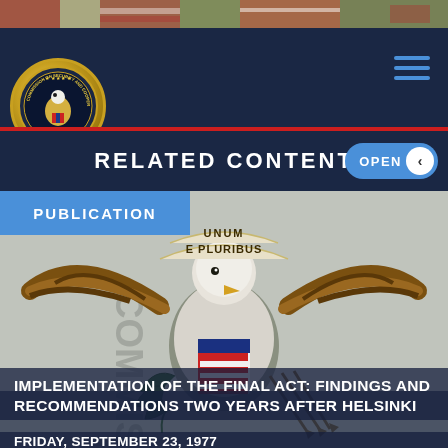[Figure (photo): Decorative top banner photo strip with flags and patriotic imagery]
[Figure (logo): Commission on Security and Cooperation in Europe seal/logo — gold eagle on navy blue circular emblem]
RELATED CONTENT
OPEN
PUBLICATION
[Figure (photo): Large background image of the United States Great Seal (eagle with E Pluribus Unum banner, shield, olive branch and arrows) in muted grey-blue tones with text 'COMMISSION ON...' and 'ION...' visible on sides]
IMPLEMENTATION OF THE FINAL ACT: FINDINGS AND RECOMMENDATIONS TWO YEARS AFTER HELSINKI
FRIDAY, SEPTEMBER 23, 1977